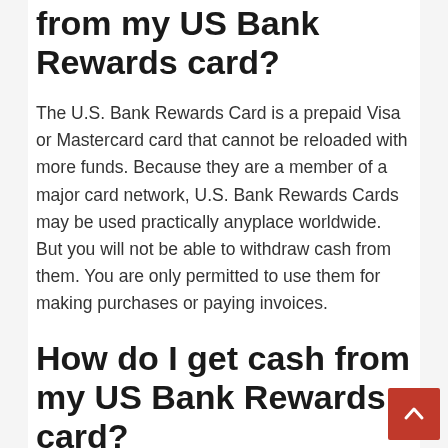from my US Bank Rewards card?
The U.S. Bank Rewards Card is a prepaid Visa or Mastercard card that cannot be reloaded with more funds. Because they are a member of a major card network, U.S. Bank Rewards Cards may be used practically anyplace worldwide. But you will not be able to withdraw cash from them. You are only permitted to use them for making purchases or paying invoices.
How do I get cash from my US Bank Rewards card?